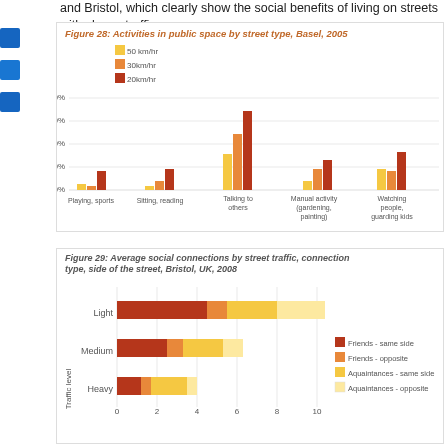and Bristol, which clearly show the social benefits of living on streets with slower traffic:
Figure 28: Activities in public space by street type, Basel, 2005
[Figure (grouped-bar-chart): Figure 28: Activities in public space by street type, Basel, 2005]
Figure 29: Average social connections by street traffic, connection type, side of the street, Bristol, UK, 2008
[Figure (stacked-bar-chart): Figure 29: Average social connections by street traffic, connection type, side of the street, Bristol, UK, 2008]